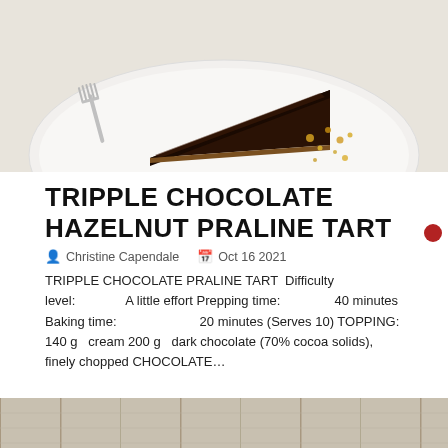[Figure (photo): A slice of chocolate hazelnut praline tart on a white plate with a fork, with golden crumbs scattered around]
TRIPPLE CHOCOLATE HAZELNUT PRALINE TART
Christine Capendale   Oct 16 2021
TRIPPLE CHOCOLATE PRALINE TART  Difficulty level:              A little effort Prepping time:            40 minutes Baking time:                    20 minutes (Serves 10) TOPPING: 140 g   cream 200 g   dark chocolate (70% cocoa solids), finely chopped CHOCOLATE...
[Figure (photo): Bottom portion of another recipe photo showing a light wooden surface]